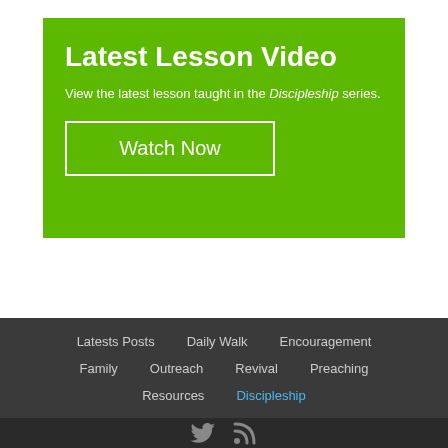Latest Lesson Video
View the latest lesson taught in the Discipleship series.
Watch Now
Latests Posts   Daily Walk   Encouragement   Family   Outreach   Revival   Preaching   Resources   Discipleship